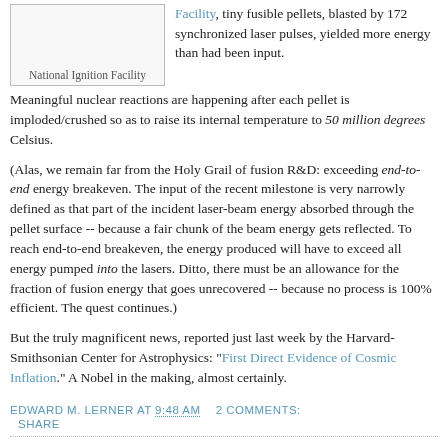[Figure (photo): Image box for National Ignition Facility (empty/placeholder)]
National Ignition Facility
Facility, tiny fusible pellets, blasted by 172 synchronized laser pulses, yielded more energy than had been input.
Meaningful nuclear reactions are happening after each pellet is imploded/crushed so as to raise its internal temperature to 50 million degrees Celsius.
(Alas, we remain far from the Holy Grail of fusion R&D: exceeding end-to-end energy breakeven. The input of the recent milestone is very narrowly defined as that part of the incident laser-beam energy absorbed through the pellet surface -- because a fair chunk of the beam energy gets reflected. To reach end-to-end breakeven, the energy produced will have to exceed all energy pumped into the lasers. Ditto, there must be an allowance for the fraction of fusion energy that goes unrecovered -- because no process is 100% efficient. The quest continues.)
But the truly magnificent news, reported just last week by the Harvard-Smithsonian Center for Astrophysics: "First Direct Evidence of Cosmic Inflation." A Nobel in the making, almost certainly.
EDWARD M. LERNER AT 9:48 AM   2 COMMENTS:
SHARE